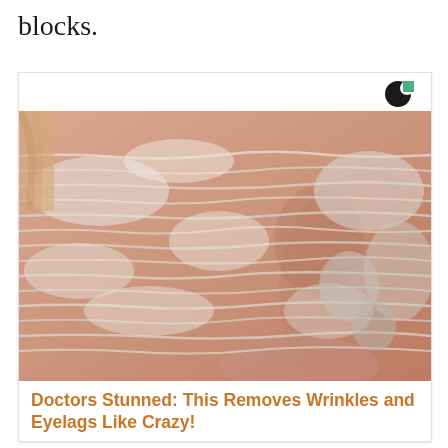blocks.
[Figure (photo): Close-up photo of an elderly person's face covered with a white/grey exfoliating or peeling mask product, showing wrinkled skin texture underneath with orange-pink skin tones visible]
Doctors Stunned: This Removes Wrinkles and Eyelags Like Crazy!